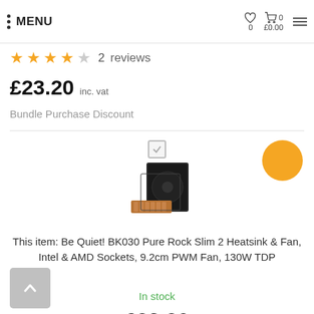MENU | ♡ 0 | 🛒 0 | £0.00
★★★★☆  2  reviews
£23.20 inc. vat
Bundle Purchase Discount
[Figure (photo): Product image of Be Quiet! BK030 Pure Rock Slim 2 Heatsink and Fan with box]
This item: Be Quiet! BK030 Pure Rock Slim 2 Heatsink & Fan, Intel & AMD Sockets, 9.2cm PWM Fan, 130W TDP
In stock
£23.20